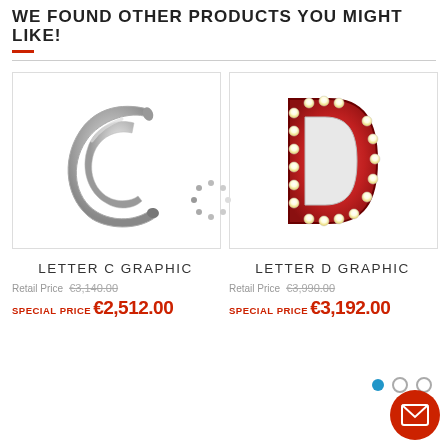WE FOUND OTHER PRODUCTS YOU MIGHT LIKE!
[Figure (photo): Silver metallic letter C sculpture product photo on white background]
LETTER C GRAPHIC
Retail Price €3,140.00
SPECIAL PRICE €2,512.00
[Figure (photo): Red marquee light-up letter D with white bulbs product photo on white background]
LETTER D GRAPHIC
Retail Price €3,990.00
SPECIAL PRICE €3,192.00